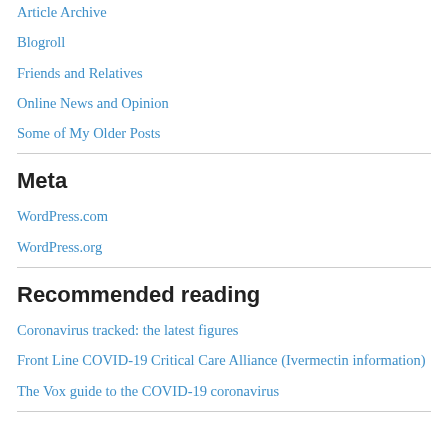Article Archive
Blogroll
Friends and Relatives
Online News and Opinion
Some of My Older Posts
Meta
WordPress.com
WordPress.org
Recommended reading
Coronavirus tracked: the latest figures
Front Line COVID-19 Critical Care Alliance (Ivermectin information)
The Vox guide to the COVID-19 coronavirus